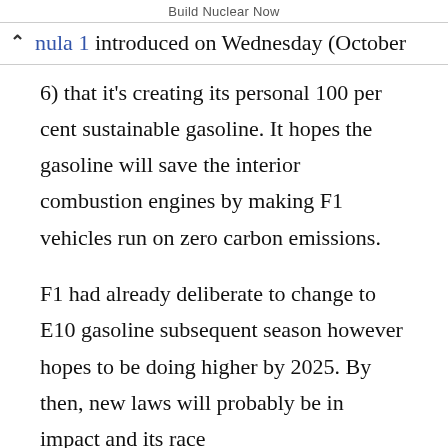Build Nuclear Now
nula 1 introduced on Wednesday (October 6) that it's creating its personal 100 per cent sustainable gasoline. It hopes the gasoline will save the interior combustion engines by making F1 vehicles run on zero carbon emissions.
F1 had already deliberate to change to E10 gasoline subsequent season however hopes to be doing higher by 2025. By then, new laws will probably be in impact and its race